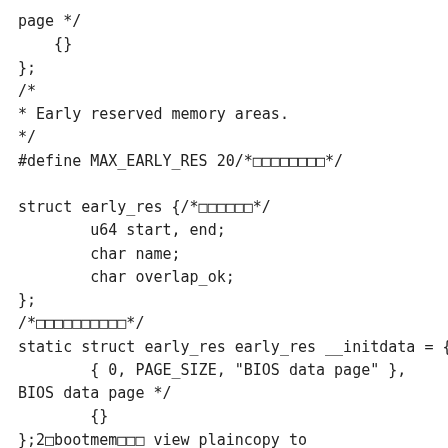page */
    {}
};
/*
* Early reserved memory areas.
*/
#define MAX_EARLY_RES 20/*□□□□□□□□*/

struct early_res {/*□□□□□□*/
        u64 start, end;
        char name;
        char overlap_ok;
};
/*□□□□□□□□□□*/
static struct early_res early_res __initdata = {
        { 0, PAGE_SIZE, "BIOS data page" },        /*
BIOS data page */
        {}
};2□bootmem□□□ view plaincopy to